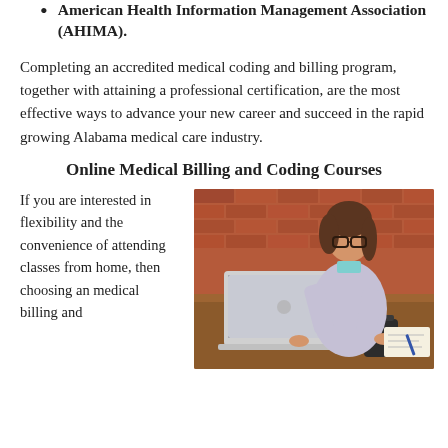American Health Information Management Association (AHIMA).
Completing an accredited medical coding and billing program, together with attaining a professional certification, are the most effective ways to advance your new career and succeed in the rapid growing Alabama medical care industry.
Online Medical Billing and Coding Courses
If you are interested in flexibility and the convenience of attending classes from home, then choosing an medical billing and
[Figure (photo): Woman with glasses sitting at a wooden desk working on a MacBook laptop, with a brick wall in the background and a dark mug on the desk.]